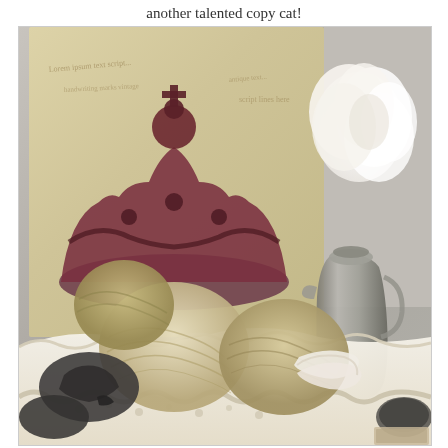another talented copy cat!
[Figure (photo): A styled vignette photograph showing balls of natural/beige yarn and twine arranged on white lace fabric, with dark clay or stone decorative pieces, a silver metal pitcher/vase containing white ruffled flowers, and a decorative canvas art print in the background featuring an ornate crown motif over aged parchment with script handwriting. The overall color palette is neutral — creams, beiges, and dark charcoal tones — giving the scene a shabby chic or vintage aesthetic.]